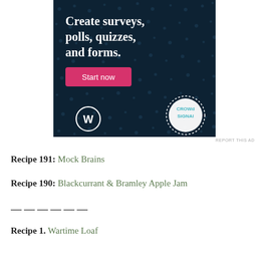[Figure (screenshot): Advertisement banner with dark navy background and teal dot pattern. White bold text reads 'Create surveys, polls, quizzes, and forms.' with a pink/magenta 'Start now' button. Bottom left shows WordPress logo (W in circle) and bottom right shows Crowd Signal logo in a dotted circle.]
REPORT THIS AD
Recipe 191: Mock Brains
Recipe 190: Blackcurrant & Bramley Apple Jam
——————
Recipe 1. Wartime Loaf